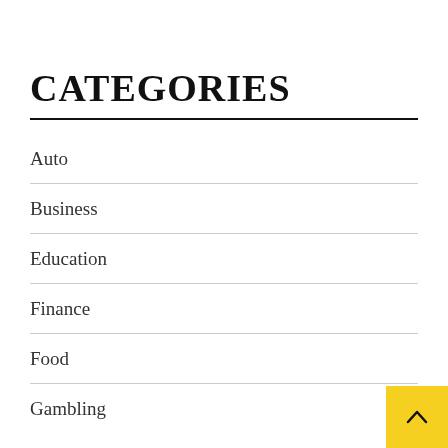CATEGORIES
Auto
Business
Education
Finance
Food
Gambling